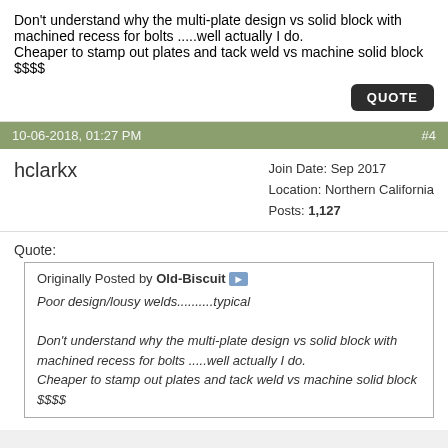Don't understand why the multi-plate design vs solid block with machined recess for bolts .....well actually I do.
Cheaper to stamp out plates and tack weld vs machine solid block $$$$
QUOTE
10-06-2018, 01:27 PM   #4
hclarkx
Join Date: Sep 2017
Location: Northern California
Posts: 1,127
Quote:
Originally Posted by Old-Biscuit
Poor design/lousy welds..........typical

Don't understand why the multi-plate design vs solid block with machined recess for bolts .....well actually I do.
Cheaper to stamp out plates and tack weld vs machine solid block $$$$